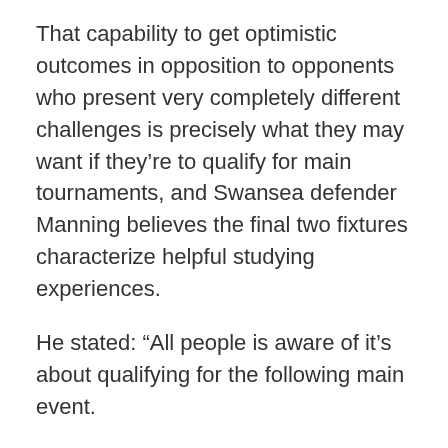That capability to get optimistic outcomes in opposition to opponents who present very completely different challenges is precisely what they may want if they’re to qualify for main tournaments, and Swansea defender Manning believes the final two fixtures characterize helpful studying experiences.
He stated: “All people is aware of it’s about qualifying for the following main event.
“To have the adaptability to have the ability to play the primary workforce on this planet, going toe-to-toe out and in of possession and get the 2-2 draw…
“We had been unfortunate that one of many targets conceded was a set-piece, which was uncommon for us. I believed we did have them on the ropes for a interval.
“Then in opposition to Lithuania, we needed to adapt the